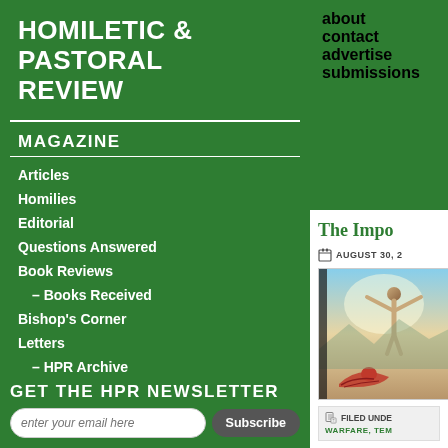HOMILETIC & PASTORAL REVIEW
about
contact
advertise
submissions
MAGAZINE
Articles
Homilies
Editorial
Questions Answered
Book Reviews
– Books Received
Bishop's Corner
Letters
– HPR Archive
GET THE HPR NEWSLETTER
enter your email here
Subscribe
The Impo
AUGUST 30, 2
[Figure (illustration): Religious painting depicting a figure with outstretched arms in a dramatic scene with another figure in red robes below]
FILED UNDE
WARFARE, TEM